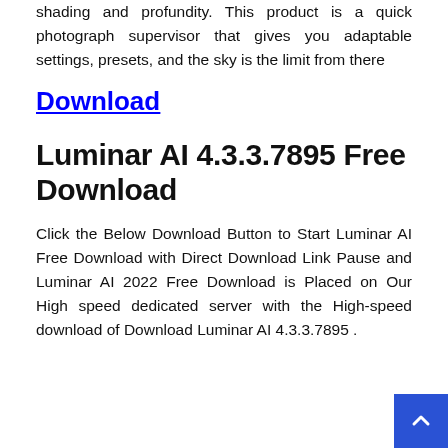shading and profundity. This product is a quick photograph supervisor that gives you adaptable settings, presets, and the sky is the limit from there
Download
Luminar AI 4.3.3.7895 Free Download
Click the Below Download Button to Start Luminar AI Free Download with Direct Download Link Pause and Luminar AI 2022 Free Download is Placed on Our High speed dedicated server with the High-speed download of Download Luminar AI 4.3.3.7895 .